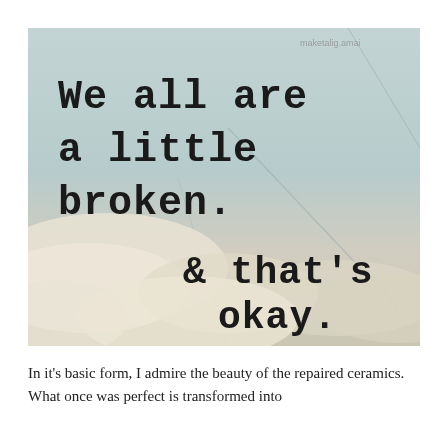[Figure (illustration): A weathered, textured paper/ceramic background in muted blue-grey and off-white tones with typewriter-style text reading: 'We all are a little broken. & that's okay.' with a small watermark in the top right corner.]
In it's basic form, I admire the beauty of the repaired ceramics. What once was perfect is transformed into